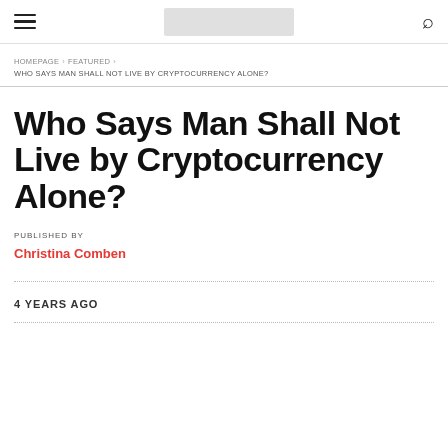≡ [logo] 🔍
HOMEPAGE › FEATURED › WHO SAYS MAN SHALL NOT LIVE BY CRYPTOCURRENCY ALONE?
Who Says Man Shall Not Live by Cryptocurrency Alone?
PUBLISHED BY
Christina Comben
4 YEARS AGO